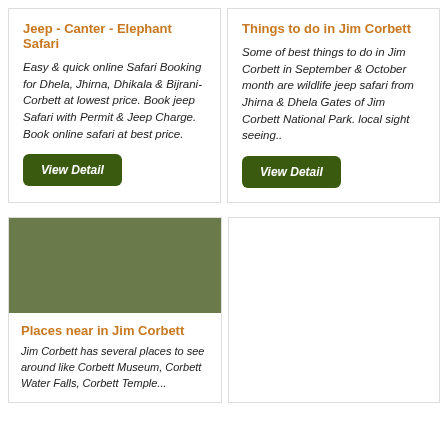Jeep - Canter - Elephant Safari
Easy & quick online Safari Booking for Dhela, Jhirna, Dhikala & Bijrani-Corbett at lowest price. Book jeep Safari with Permit & Jeep Charge. Book online safari at best price.
View Detail
Things to do in Jim Corbett
Some of best things to do in Jim Corbett in September & October month are wildlife jeep safari from Jhirna & Dhela Gates of Jim Corbett National Park. local sight seeing..
View Detail
[Figure (photo): Green/olive colored image placeholder for Places near in Jim Corbett card]
Places near in Jim Corbett
Jim Corbett has several places to see around like Corbett Museum, Corbett Water Falls, Corbett Temple...